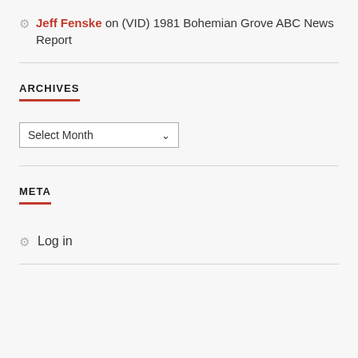Jeff Fenske on (VID) 1981 Bohemian Grove ABC News Report
ARCHIVES
Select Month
META
Log in